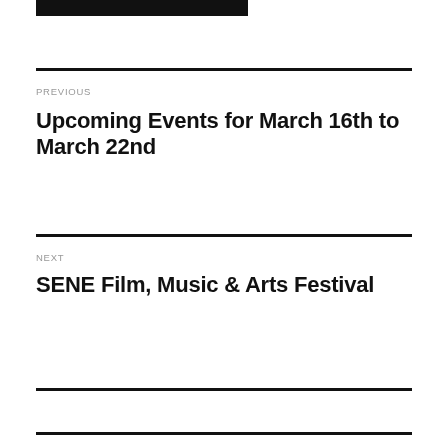[Figure (other): Black rectangular bar at top of page]
PREVIOUS
Upcoming Events for March 16th to March 22nd
NEXT
SENE Film, Music & Arts Festival